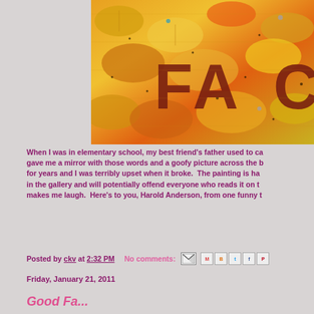[Figure (photo): Colorful autumn/fall themed painting with orange, yellow, and red leaves background. Dark red/brown letters spelling 'FACE' or partial word 'FA...' visible on the textured painted surface. Decorative painting with dots and metallic elements.]
When I was in elementary school, my best friend's father used to ca gave me a mirror with those words and a goofy picture across the b for years and I was terribly upset when it broke.  The painting is ha in the gallery and will potentially offend everyone who reads it on t makes me laugh.  Here's to you, Harold Anderson, from one funny t
Posted by ckv at 2:32 PM    No comments:
Friday, January 21, 2011
Good Taste...